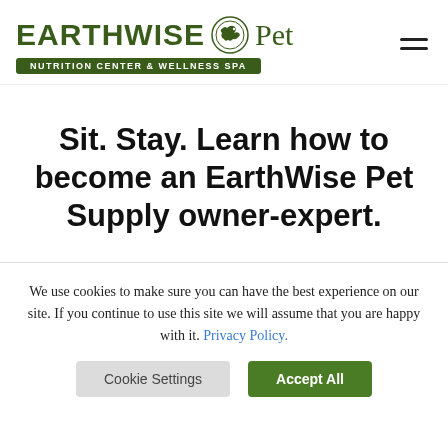[Figure (logo): EarthWise Pet Nutrition Center & Wellness Spa logo with bird icon and green badge]
Sit. Stay. Learn how to become an EarthWise Pet Supply owner-expert.
We use cookies to make sure you can have the best experience on our site. If you continue to use this site we will assume that you are happy with it. Privacy Policy.
Cookie Settings  Accept All